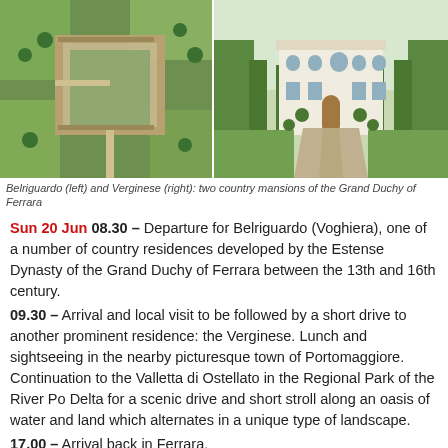[Figure (photo): Aerial view of Belriguardo country mansion (left) and frontal view of Verginese country mansion (right), two country mansions of the Grand Duchy of Ferrara]
Belriguardo (left) and Verginese (right): two country mansions of the Grand Duchy of Ferrara
Sun 20 Jun 08.30 – Departure for Belriguardo (Voghiera), one of a number of country residences developed by the Estense Dynasty of the Grand Duchy of Ferrara between the 13th and 16th century.
09.30 – Arrival and local visit to be followed by a short drive to another prominent residence: the Verginese. Lunch and sightseeing in the nearby picturesque town of Portomaggiore. Continuation to the Valletta di Ostellato in the Regional Park of the River Po Delta for a scenic drive and short stroll along an oasis of water and land which alternates in a unique type of landscape.
17.00 – Arrival back in Ferrara.
19.30 – Optional dinner.